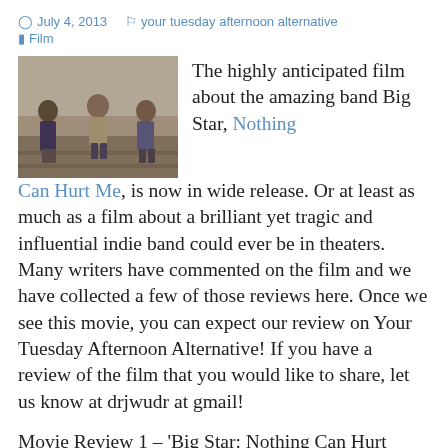July 4, 2013   your tuesday afternoon alternative   Film
[Figure (photo): Black and white photo of the band Big Star, three members sitting on steps outdoors]
The highly anticipated film about the amazing band Big Star, Nothing Can Hurt Me, is now in wide release.  Or at least as much as a film about a brilliant yet tragic and influential indie band could ever be in theaters.  Many writers have commented on the film and we have collected a few of those reviews here.  Once we see this movie, you can expect our review on Your Tuesday Afternoon Alternative!  If you have a review of the film that you would like to share, let us know at drjwudr at gmail!
Movie Review 1 – 'Big Star: Nothing Can Hurt